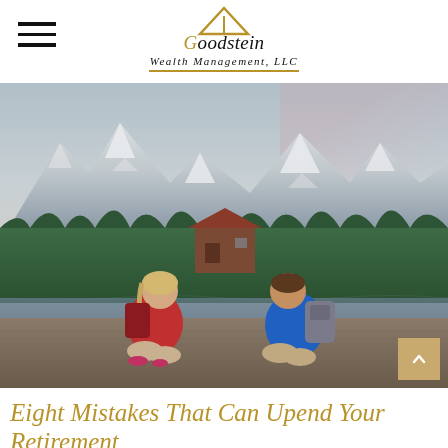Goodstein Wealth Management, LLC
[Figure (photo): Two older adults with backpacks sitting on a wooden dock, smiling at each other, with a mountain lake, forest, and snow-capped peaks in the background.]
Eight Mistakes That Can Upend Your Retirement